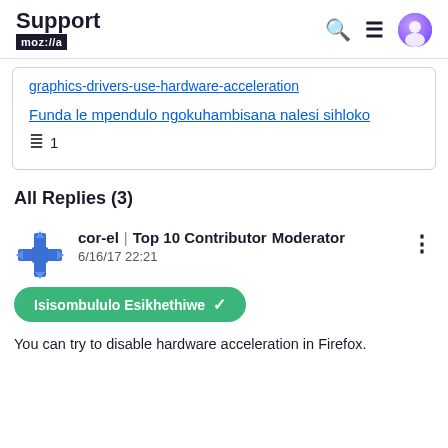Support mozilla//a
graphics-drivers-use-hardware-acceleration
Funda le mpendulo ngokuhambisana nalesi sihloko
1
All Replies (3)
cor-el | Top 10 Contributor Moderator
6/16/17 22:21
Isisombululo Esikhethiwe
You can try to disable hardware acceleration in Firefox.